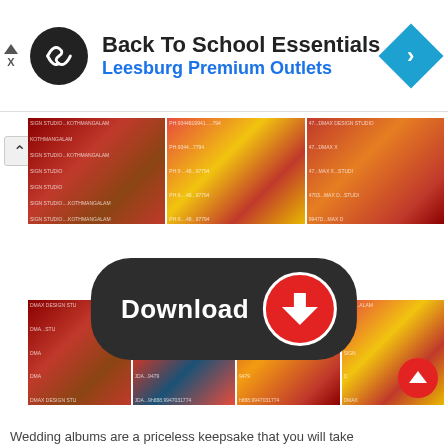[Figure (screenshot): Advertisement banner for Back To School Essentials at Leesburg Premium Outlets with logo and navigation icon]
[Figure (photo): Strip of Indian wedding photography collage photos - first row showing bride, couple and group shots with KOTHMANGALAM SIGN STUDIO watermark]
[Figure (photo): Strip of Indian wedding photography collage photos - second row showing couple and group shots with DMAX DESIGN STUDIO watermark]
[Figure (infographic): Download button - dark pill-shaped button with white Download text and red circle with down arrow icon]
Wedding albums are a priceless keepsake that you will take